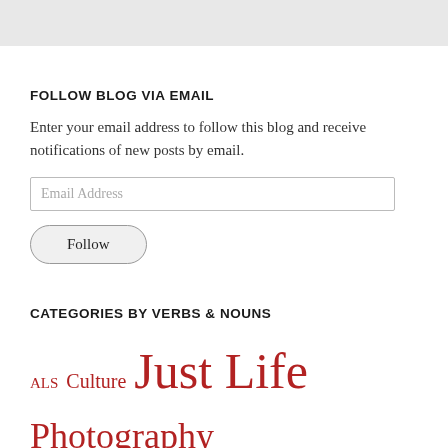FOLLOW BLOG VIA EMAIL
Enter your email address to follow this blog and receive notifications of new posts by email.
[Figure (other): Email address input field with placeholder text 'Email Address']
[Figure (other): Follow button with rounded rectangle border]
CATEGORIES BY VERBS & NOUNS
ALS  Culture  Just Life  Photography  Politics  sailing  Travel  Writing